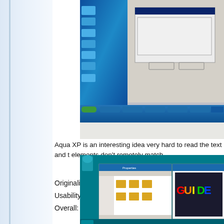[Figure (screenshot): Screenshot of Aqua XP Windows theme showing a blue aqua-styled desktop with Start menu open and a dialog box on the right side]
Aqua XP is an interesting idea very hard to read the text and t elements don't remotely match
Originality: 5
Usability: 1
Overall: 2
[Figure (screenshot): Screenshot of another Windows theme showing a teal/cyan colored desktop with file explorer windows open and a rainbow-colored GUIDE logo visible]